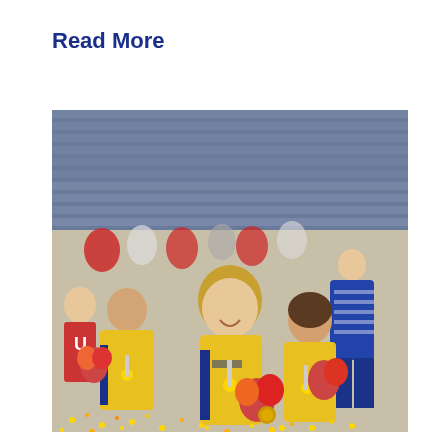Read More
[Figure (photo): Three female handball players wearing yellow and blue uniforms with medals around their necks and holding flower bouquets, celebrating in an indoor sports arena with a crowd in the background. A man in a blue tracksuit stands in the background.]